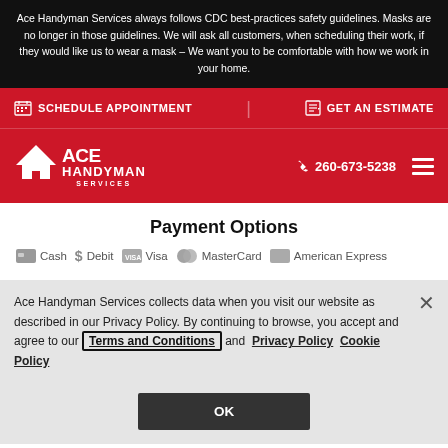Ace Handyman Services always follows CDC best-practices safety guidelines. Masks are no longer in those guidelines. We will ask all customers, when scheduling their work, if they would like us to wear a mask – We want you to be comfortable with how we work in your home.
SCHEDULE APPOINTMENT   GET AN ESTIMATE
[Figure (logo): Ace Handyman Services logo with house icon, white text on red background, phone number 260-673-5238 and hamburger menu]
Payment Options
Cash   Debit   Visa   MasterCard   American Express
Ace Handyman Services collects data when you visit our website as described in our Privacy Policy. By continuing to browse, you accept and agree to our Terms and Conditions and Privacy Policy Cookie Policy
OK